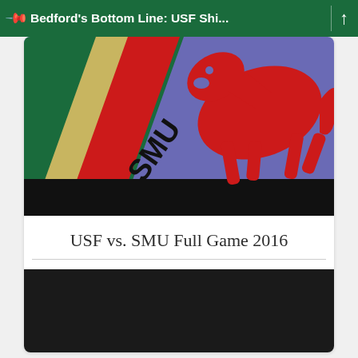Bedford's Bottom Line: USF Shi...
[Figure (illustration): Sports graphic showing SMU text on a red diagonal stripe over a blue/purple background, with a red mustang horse logo on the right and a partial green/gold USF bull logo on the left.]
USF vs. SMU Full Game 2016
[Figure (screenshot): Dark/black video thumbnail area at the bottom of the card.]